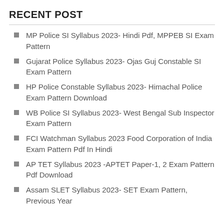RECENT POST
MP Police SI Syllabus 2023- Hindi Pdf, MPPEB SI Exam Pattern
Gujarat Police Syllabus 2023- Ojas Guj Constable SI Exam Pattern
HP Police Constable Syllabus 2023- Himachal Police Exam Pattern Download
WB Police SI Syllabus 2023- West Bengal Sub Inspector Exam Pattern
FCI Watchman Syllabus 2023 Food Corporation of India Exam Pattern Pdf In Hindi
AP TET Syllabus 2023 -APTET Paper-1, 2 Exam Pattern Pdf Download
Assam SLET Syllabus 2023- SET Exam Pattern, Previous Year